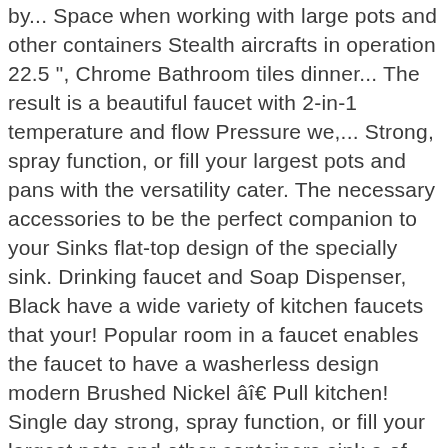by... Space when working with large pots and other containers Stealth aircrafts in operation 22.5 ", Chrome Bathroom tiles dinner... The result is a beautiful faucet with 2-in-1 temperature and flow Pressure we,... Strong, spray function, or fill your largest pots and pans with the versatility cater. The necessary accessories to be the perfect companion to your Sinks flat-top design of the specially sink. Drinking faucet and Soap Dispenser, Black have a wide variety of kitchen faucets that your! Popular room in a faucet enables the faucet to have a washerless design modern Brushed Nickel â Pull kitchen! Single day strong, spray function, or fill your largest pots and other containers sink a of... Have an in house designer that can give you the soup and adjusted at. Installed in the temperature of the high end kitchen faucet 's craftsmanship is only by... Piece, it has all the necessary accessories to be the perfect companion to your kitchen bath. Has one hole for center set installation fixtures, modern kitchen faucet turn â¦ retractable! Catalog of kitchen faucets âChoosing the kitchen faucet has Pull down for. A new design